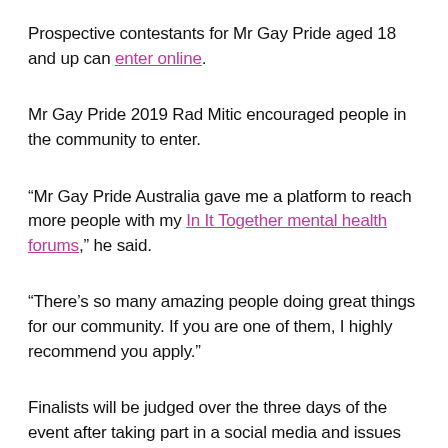Prospective contestants for Mr Gay Pride aged 18 and up can enter online.
Mr Gay Pride 2019 Rad Mitic encouraged people in the community to enter.
“Mr Gay Pride Australia gave me a platform to reach more people with my In It Together mental health forums,” he said.
“There’s so many amazing people doing great things for our community. If you are one of them, I highly recommend you apply.”
Finalists will be judged over the three days of the event after taking part in a social media and issues campaign.